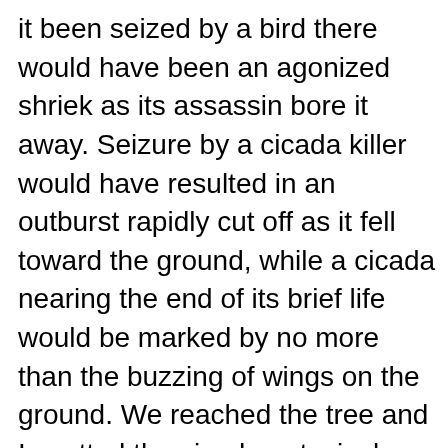it been seized by a bird there would have been an agonized shriek as its assassin bore it away. Seizure by a cicada killer would have resulted in an outburst rapidly cut off as it fell toward the ground, while a cicada nearing the end of its brief life would be marked by no more than the buzzing of wings on the ground. We reached the tree and I spotted the cicada, a typical stout, dark gray creature with a narrow white band around its abdomen just behind the wings. It perched on the tree's trunk, head up, wings slightly spread, and again gave forth that pitiful groan, apparently oblivious to our presence. And then in the foliage above it there was movement and the unhappy cicada's fate was instantly obvious. It had been seized and was being held, and devoured